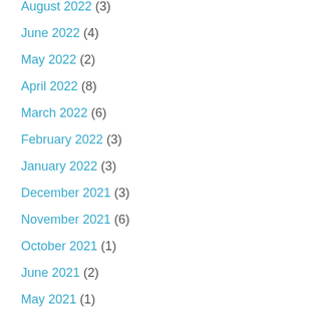August 2022 (3)
June 2022 (4)
May 2022 (2)
April 2022 (8)
March 2022 (6)
February 2022 (3)
January 2022 (3)
December 2021 (3)
November 2021 (6)
October 2021 (1)
June 2021 (2)
May 2021 (1)
April 2021 (4)
March 2021 (1)